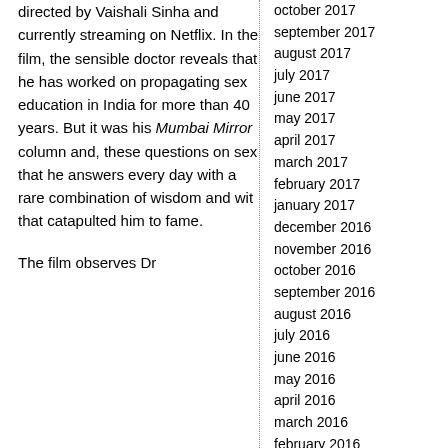directed by Vaishali Sinha and currently streaming on Netflix. In the film, the sensible doctor reveals that he has worked on propagating sex education in India for more than 40 years. But it was his Mumbai Mirror column and, these questions on sex that he answers every day with a rare combination of wisdom and wit that catapulted him to fame.

The film observes Dr
october 2017
september 2017
august 2017
july 2017
june 2017
may 2017
april 2017
march 2017
february 2017
january 2017
december 2016
november 2016
october 2016
september 2016
august 2016
july 2016
june 2016
may 2016
april 2016
march 2016
february 2016
january 2016
december 2015
november 2015
october 2015
september 2015
august 2015
july 2015
june 2015
may 2015
april 2015
march 2015
february 2015